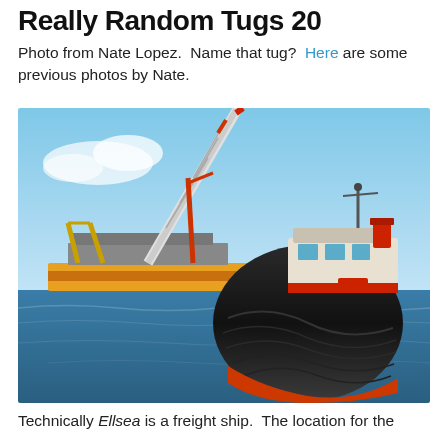Really Random Tugs 20
Photo from Nate Lopez.  Name that tug?  Here are some previous photos by Nate.
[Figure (photo): A tugboat with black rubber fenders and red/orange hull in the foreground on blue ocean water. In the background, a large crane vessel/barge with a tall white crane arm and red cranes on the left side.]
Technically Ellsea is a freight ship.  The location for the